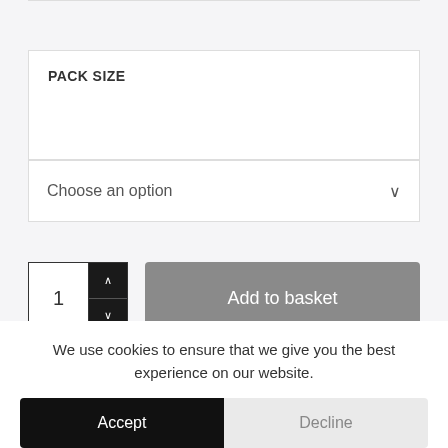PACK SIZE
Choose an option
1
Add to basket
Buy now
We use cookies to ensure that we give you the best experience on our website.
Accept
Decline